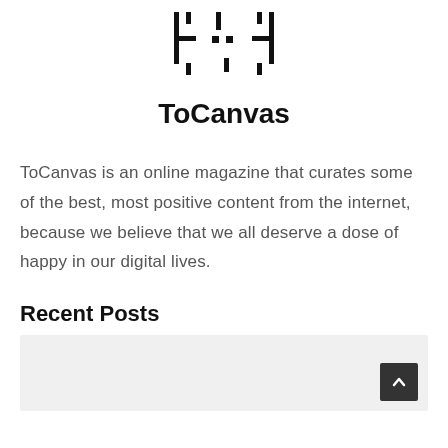[Figure (logo): ToCanvas logo: stylized bracket/crosshair symbol in black]
ToCanvas
ToCanvas is an online magazine that curates some of the best, most positive content from the internet, because we believe that we all deserve a dose of happy in our digital lives.
Recent Posts
[Figure (photo): Placeholder image area for a recent post thumbnail, light gray background]